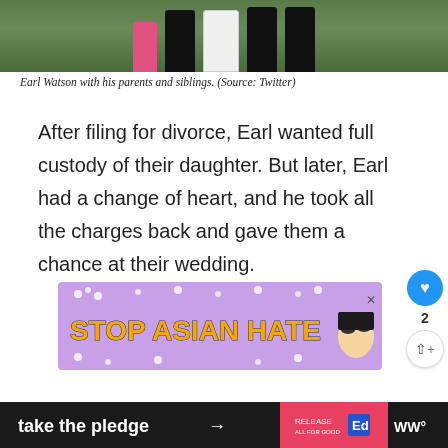[Figure (photo): Photo of Earl Watson with his parents and siblings, people standing in formal attire outdoors on grass]
Earl Watson with his parents and siblings. (Source: Twitter)
After filing for divorce, Earl wanted full custody of their daughter. But later, Earl had a change of heart, and he took all the charges back and gave them a chance at their wedding.
[Figure (photo): Stop Asian Hate advertisement banner with purple background and yellow bold text]
take the pledge →